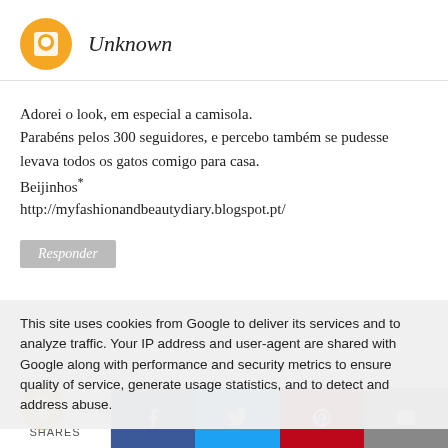Unknown
Adorei o look, em especial a camisola.
Parabéns pelos 300 seguidores, e percebo também se pudesse levava todos os gatos comigo para casa.
Bejinhos*
http://myfashionandbeautydiary.blogspot.pt/
Responder
This site uses cookies from Google to deliver its services and to analyze traffic. Your IP address and user-agent are shared with Google along with performance and security metrics to ensure quality of service, generate usage statistics, and to detect and address abuse.
Unknown
0 SHARES